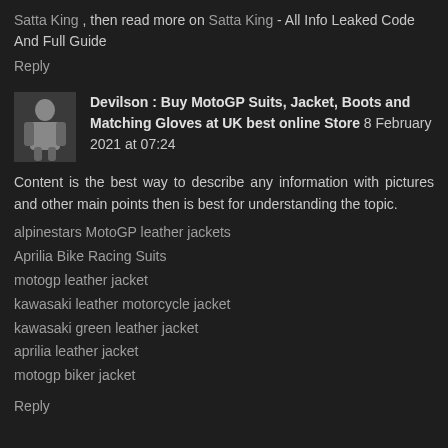Satta King , then read more on Satta King - All Info Leaked Code And Full Guide
Reply
Devilson : Buy MotoGP Suits, Jacket, Boots and Matching Gloves at UK best online Store 8 February 2021 at 07:24
Content is the best way to describe any information with pictures and other main points then is best for understanding the topic.
alpinestars MotoGP leather jackets
Aprilia Bike Racing Suits
motogp leather jacket
kawasaki leather motorcycle jacket
kawasaki green leather jacket
aprilia leather jacket
motogp biker jacket
Reply